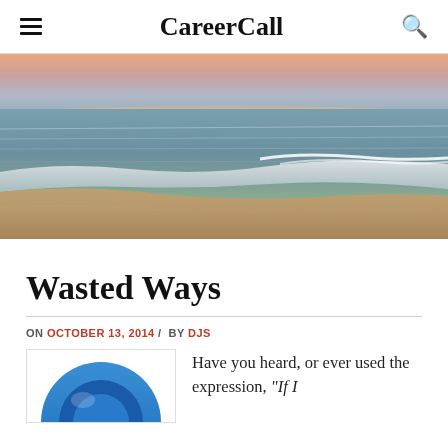CareerCall
[Figure (photo): Beach scene with ocean waves washing onto sandy shore at sunset/dusk with warm orange sky on the horizon]
Wasted Ways
ON OCTOBER 13, 2014 / BY DJS
[Figure (illustration): Partial blue circular avatar/icon visible at bottom of page]
Have you heard, or ever used the expression, "If I